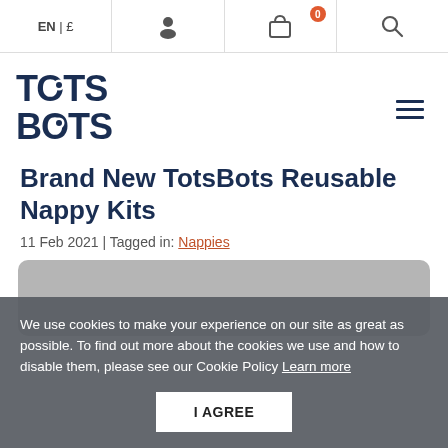EN | £ | [person icon] | [bag icon with 0] | [search icon]
[Figure (logo): TotsBots logo in dark navy blue text]
Brand New TotsBots Reusable Nappy Kits
11 Feb 2021 | Tagged in: Nappies
[Figure (photo): Rounded rectangle grey image placeholder]
We use cookies to make your experience on our site as great as possible. To find out more about the cookies we use and how to disable them, please see our Cookie Policy Learn more
I AGREE